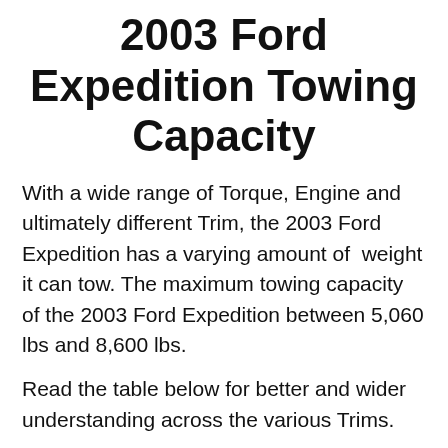2003 Ford Expedition Towing Capacity
With a wide range of Torque, Engine and ultimately different Trim, the 2003 Ford Expedition has a varying amount of  weight it can tow. The maximum towing capacity of the 2003 Ford Expedition between 5,060 lbs and 8,600 lbs.
Read the table below for better and wider understanding across the various Trims.
| Vehicle Year Make & Model | Trim | Max Towing Capacity | Engine | Payload |
| --- | --- | --- | --- | --- |